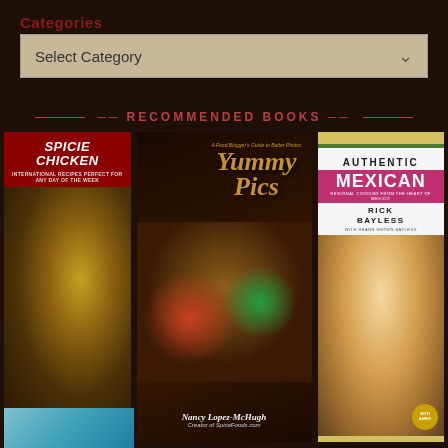Categories
Select Category
RECOMMENDED BOOKS
[Figure (illustration): Book cover: SPICIE CHICKEN - International Recipes Perfect for Any Day of the Week, showing cooked chicken pieces in a dark bowl, with footer text about popular chicken recipes from SpiceFoods.com plus bonus turkey, rabbit & duck recipes]
[Figure (photo): Book cover: Yummy Pics - A Food Blogger's Guide to Better Photos by Nancy Lopez-McHugh, Creator of SpiceFoods.com, showing a dark pot with colorful stewed food]
[Figure (illustration): Book cover: Authentic Mexican by Rick Bayless and Deann Groen Bayless, 20th Anniversary Edition, showing Rick Bayless photo with pink Mexican title band and gold/green decorative bars]
[Figure (photo): Partial book cover visible at bottom left, appears to show a teal/aqua colored food image]